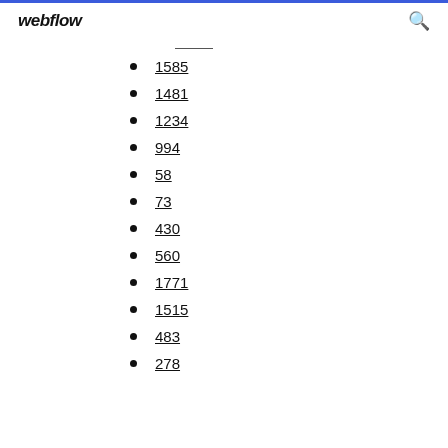webflow
1585
1481
1234
994
58
73
430
560
1771
1515
483
278